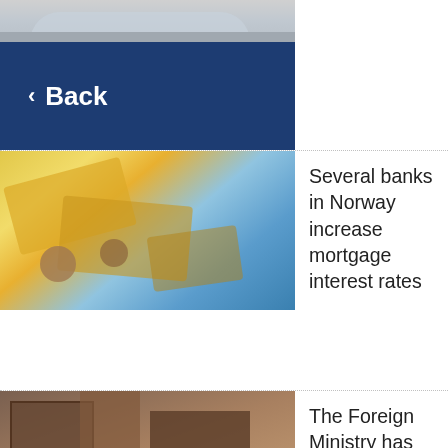[Figure (photo): Top portion of a car photo, partially cropped]
[Figure (screenshot): Dark blue Back navigation button with left arrow]
[Figure (photo): Norwegian currency - banknotes and coins spread out on blue background]
Several banks in Norway increase mortgage interest rates
[Figure (photo): Destroyed building rubble, aftermath of attack]
The Foreign Ministry has received information that Norwegians were killed in the hotel attack in Somalia
[Figure (photo): Indoor scene with silhouette of person against window light]
A total of 23,029 asylum applications from Ukrainian